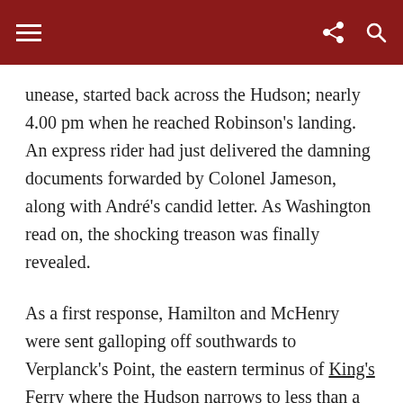[navigation bar with hamburger menu, share icon, search icon]
unease, started back across the Hudson; nearly 4.00 pm when he reached Robinson’s landing. An express rider had just delivered the damning documents forwarded by Colonel Jameson, along with André’s candid letter. As Washington read on, the shocking treason was finally revealed.
As a first response, Hamilton and McHenry were sent galloping off southwards to Verplanck’s Point, the eastern terminus of King’s Ferry where the Hudson narrows to less than a mile, in a belated attempt to intercept the fleeing Arnold. Propelled in his personal barge by eight oarsmen, he’d long since bluffed his way down river to reach the refuge of HMS Vulture.